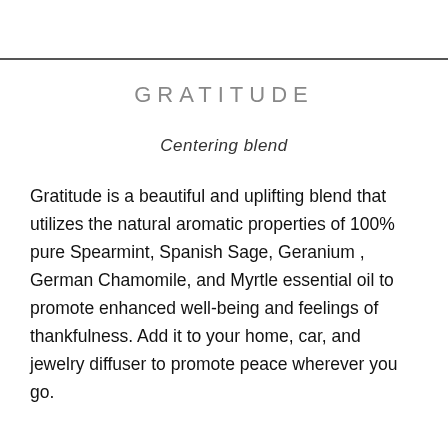GRATITUDE
Centering blend
Gratitude is a beautiful and uplifting blend that utilizes the natural aromatic properties of 100% pure Spearmint, Spanish Sage, Geranium , German Chamomile, and Myrtle essential oil to promote enhanced well-being and feelings of thankfulness. Add it to your home, car, and jewelry diffuser to promote peace wherever you go.